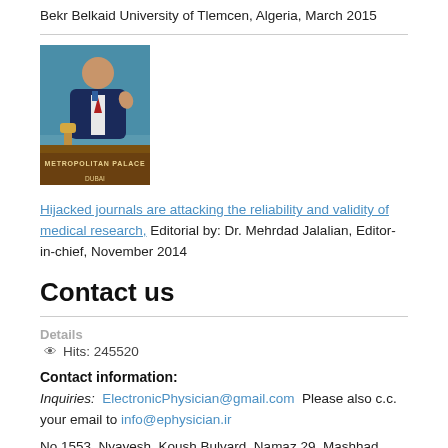Bekr Belkaid University of Tlemcen, Algeria, March 2015
[Figure (photo): Photo of a man in a suit at a podium labeled 'Metropolitan Palace Dubai', waving and smiling.]
Hijacked journals are attacking the reliability and validity of medical research, Editorial by: Dr. Mehrdad Jalalian, Editor-in-chief, November 2014
Contact us
Details
Hits: 245520
Contact information:
Inquiries: ElectronicPhysician@gmail.com  Please also c.c. your email to info@ephysician.ir
No 1553, Nyayesh, Koush Bulvard, Namaz 29, Mashhad, Iran